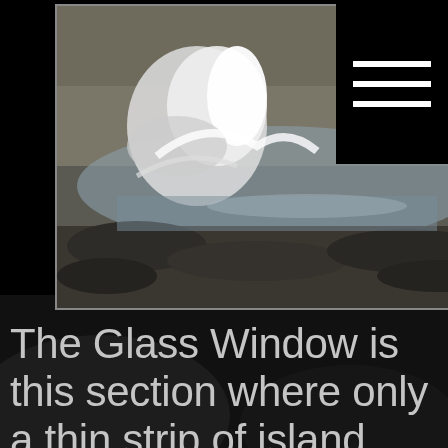[Figure (photo): Ocean waves crashing violently over dark rocky coastline, with white water spray and foam. The rocks in the foreground are dark and jagged. A black overlay box with a hamburger menu icon (three horizontal white lines) is visible in the upper right corner of the image.]
The Glass Window is this section where only a thin strip of island separates the Bohemian water from